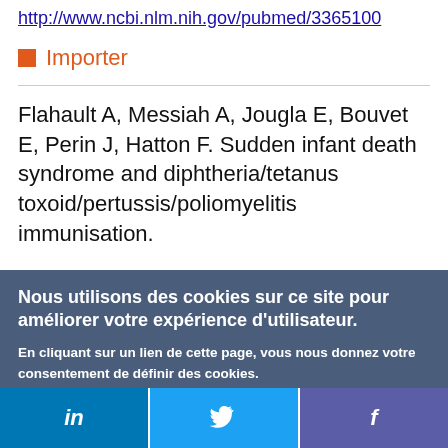http://www.ncbi.nlm.nih.gov/pubmed/3365100
Importer
Flahault A, Messiah A, Jougla E, Bouvet E, Perin J, Hatton F. Sudden infant death syndrome and diphtheria/tetanus toxoid/pertussis/poliomyelitis immunisation.
Nous utilisons des cookies sur ce site pour améliorer votre expérience d'utilisateur.

En cliquant sur un lien de cette page, vous nous donnez votre consentement de définir des cookies.

Oui, je suis d'accord   Plus d'infos
[Figure (infographic): Social media share bar with LinkedIn (blue), Twitter (light blue), and Facebook (purple) icons at the bottom of the page]